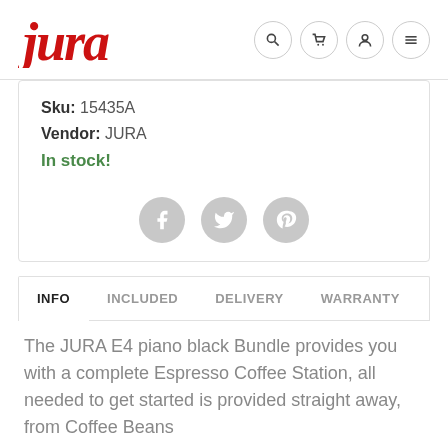[Figure (logo): JURA brand logo in red italic script, followed by four circular navigation icons: search, cart, user, menu]
Sku: 15435A
Vendor: JURA
In stock!
[Figure (other): Three circular social media icons: Facebook, Twitter, Pinterest — all in light grey]
INFO	INCLUDED	DELIVERY	WARRANTY
The JURA E4 piano black Bundle provides you with a complete Espresso Coffee Station, all needed to get started is provided straight away, from Coffee Beans